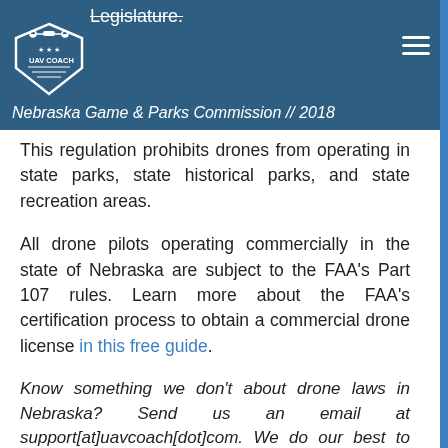Legislature.
Nebraska Game & Parks Commission // 2018
This regulation prohibits drones from operating in state parks, state historical parks, and state recreation areas.
All drone pilots operating commercially in the state of Nebraska are subject to the FAA’s Part 107 rules. Learn more about the FAA’s certification process to obtain a commercial drone license in this free guide.
Know something we don’t about drone laws in Nebraska? Send us an email at support[at]uavcoach[dot]com. We do our best to keep this list up-to-date, but the reality is that given the pace of the small unmanned aerial system (sUAS) industry and how municipal governments are responding, drone regulations in Nebraska can change